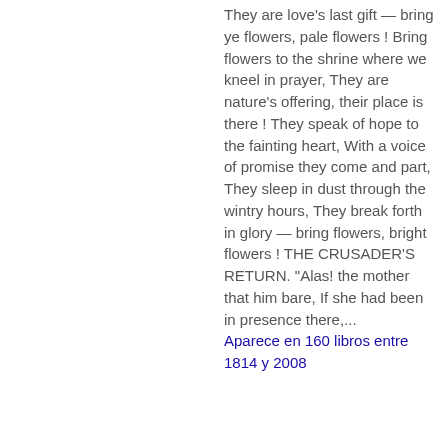They are love's last gift — bring ye flowers, pale flowers ! Bring flowers to the shrine where we kneel in prayer, They are nature's offering, their place is there ! They speak of hope to the fainting heart, With a voice of promise they come and part, They sleep in dust through the wintry hours, They break forth in glory — bring flowers, bright flowers ! THE CRUSADER'S RETURN. "Alas! the mother that him bare, If she had been in presence there,...
Aparece en 160 libros entre 1814 y 2008